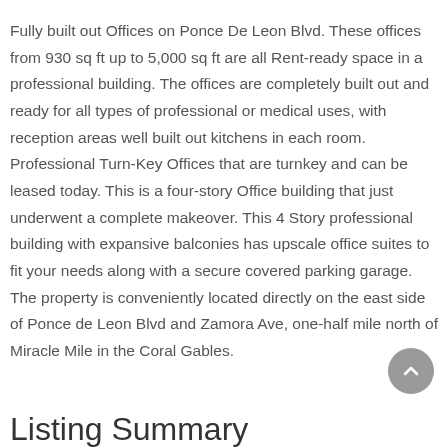Fully built out Offices on Ponce De Leon Blvd. These offices from 930 sq ft up to 5,000 sq ft are all Rent-ready space in a professional building. The offices are completely built out and ready for all types of professional or medical uses, with reception areas well built out kitchens in each room. Professional Turn-Key Offices that are turnkey and can be leased today. This is a four-story Office building that just underwent a complete makeover. This 4 Story professional building with expansive balconies has upscale office suites to fit your needs along with a secure covered parking garage. The property is conveniently located directly on the east side of Ponce de Leon Blvd and Zamora Ave, one-half mile north of Miracle Mile in the Coral Gables.
Listing Summary